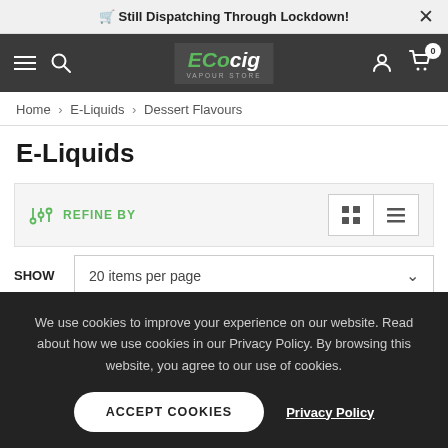🛒 Still Dispatching Through Lockdown!
[Figure (logo): EcoCig Vapour Store logo in green and white on dark background]
Home > E-Liquids > Dessert Flavours
E-Liquids
REFINE BY
SHOW   20 items per page
We use cookies to improve your experience on our website. Read about how we use cookies in our Privacy Policy. By browsing this website, you agree to our use of cookies.
ACCEPT COOKIES   Privacy Policy